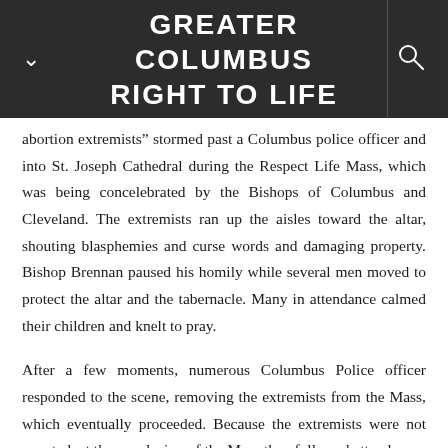GREATER COLUMBUS RIGHT TO LIFE
abortion extremists" stormed past a Columbus police officer and into St. Joseph Cathedral during the Respect Life Mass, which was being concelebrated by the Bishops of Columbus and Cleveland. The extremists ran up the aisles toward the altar, shouting blasphemies and curse words and damaging property. Bishop Brennan paused his homily while several men moved to protect the altar and the tabernacle. Many in attendance calmed their children and knelt to pray.
After a few moments, numerous Columbus Police officer responded to the scene, removing the extremists from the Mass, which eventually proceeded. Because the extremists were not arrested, at the conclusion of the Mass they followed attendees